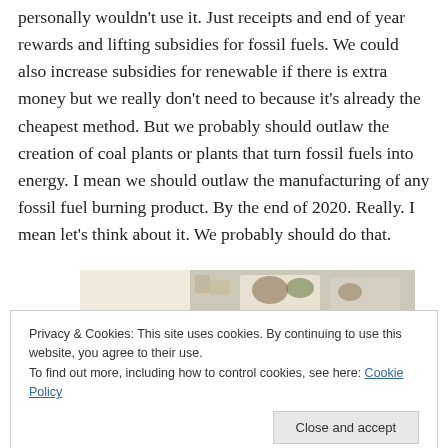personally wouldn't use it. Just receipts and end of year rewards and lifting subsidies for fossil fuels. We could also increase subsidies for renewable if there is extra money but we really don't need to because it's already the cheapest method. But we probably should outlaw the creation of coal plants or plants that turn fossil fuels into energy. I mean we should outlaw the manufacturing of any fossil fuel burning product. By the end of 2020. Really. I mean let's think about it. We probably should do that.
[Figure (photo): Partial view of an open recipe book or magazine with food photography, showing dishes and text on a light beige background.]
Privacy & Cookies: This site uses cookies. By continuing to use this website, you agree to their use.
To find out more, including how to control cookies, see here: Cookie Policy
Close and accept